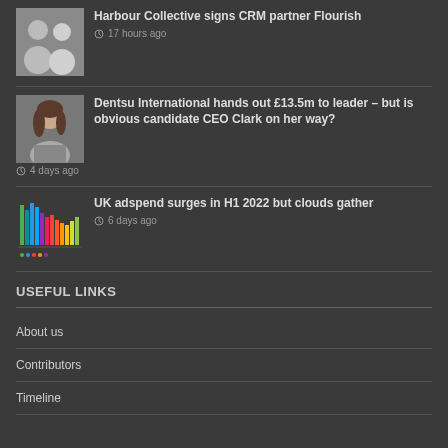[Figure (photo): Two men, headshots side by side]
Harbour Collective signs CRM partner Flourish
17 hours ago
[Figure (photo): Woman with long dark hair, headshot]
Dentsu International hands out £13.5m to leader – but is obvious candidate CEO Clark on her way?
4 days ago
[Figure (bar-chart): Colorful bar chart thumbnail showing UK adspend data]
UK adspend surges in H1 2022 but clouds gather
6 days ago
USEFUL LINKS
About us
Contributors
Timeline